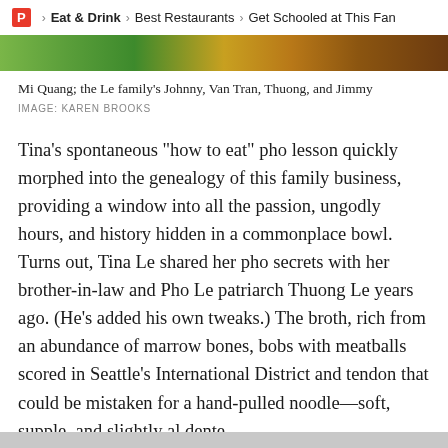P > Eat & Drink > Best Restaurants > Get Schooled at This Fan
[Figure (photo): Colorful food photo strip showing Mi Quang dish and people]
Mi Quang; the Le family's Johnny, Van Tran, Thuong, and Jimmy
IMAGE: KAREN BROOKS
Tina’s spontaneous “how to eat” pho lesson quickly morphed into the genealogy of this family business, providing a window into all the passion, ungodly hours, and history hidden in a commonplace bowl. Turns out, Tina Le shared her pho secrets with her brother-in-law and Pho Le patriarch Thuong Le years ago. (He’s added his own tweaks.) The broth, rich from an abundance of marrow bones, bobs with meatballs scored in Seattle’s International District and tendon that could be mistaken for a hand-pulled noodle—soft, supple, and slightly al dente.